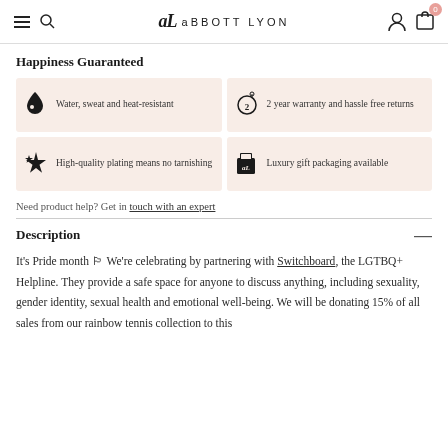Abbott Lyon
Happiness Guaranteed
Water, sweat and heat-resistant
2 year warranty and hassle free returns
High-quality plating means no tarnishing
Luxury gift packaging available
Need product help? Get in touch with an expert
Description
It's Pride month 🏳️‍🌈 We're celebrating by partnering with Switchboard, the LGTBQ+ Helpline. They provide a safe space for anyone to discuss anything, including sexuality, gender identity, sexual health and emotional well-being. We will be donating 15% of all sales from our rainbow tennis collection to this